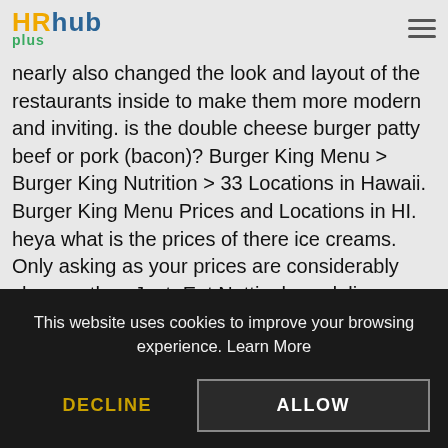HRhub plus
nearly also changed the look and layout of the restaurants inside to make them more modern and inviting. is the double cheese burger patty beef or pork (bacon)? Burger King Menu > Burger King Nutrition > 33 Locations in Hawaii. Burger King Menu Prices and Locations in HI. heya what is the prices of there ice creams. Only asking as your prices are considerably cheaper than Just=Eat Nottingham delivery prices. ... Burger Lad® is the industry-recognised number one burger review website in the UK, bringing you news, reviews and all things fast-food. We all are familiar with the McDonalds Dollar Menu. For breaking Burger King news for the UK and the USA be sure to follow us on Twitter and/or like us on Facebook! Are you looking for the, Premium Chicken Sandwich (Crispy or Grilled), Premium Chicken Sandwich (Crispy or Grilled) – Meal, Chicken Strips (Original or Buffalo) – Meal, Honey Mustard Chicken Wrap
This website uses cookies to improve your browsing experience. Learn More
DECLINE
ALLOW